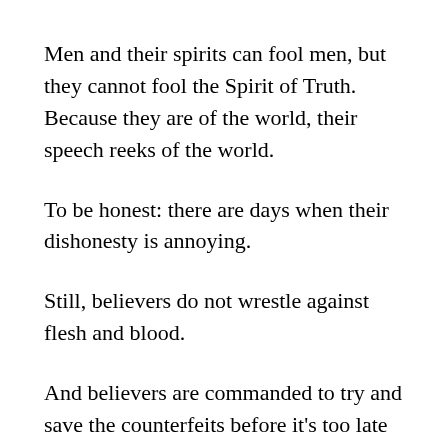Men and their spirits can fool men, but they cannot fool the Spirit of Truth. Because they are of the world, their speech reeks of the world.
To be honest: there are days when their dishonesty is annoying.
Still, believers do not wrestle against flesh and blood.
And believers are commanded to try and save the counterfeits before it’s too late for them.
“And others save with fear, pulling them out of the fire; hating even the garment spotted by the flesh.”